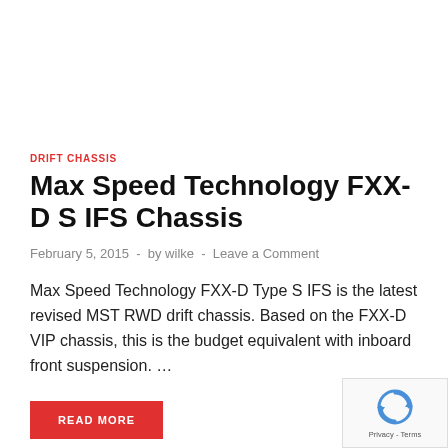DRIFT CHASSIS
Max Speed Technology FXX-D S IFS Chassis
February 5, 2015  -  by wilke  -  Leave a Comment
Max Speed Technology FXX-D Type S IFS is the latest revised MST RWD drift chassis. Based on the FXX-D VIP chassis, this is the budget equivalent with inboard front suspension. …
READ MORE